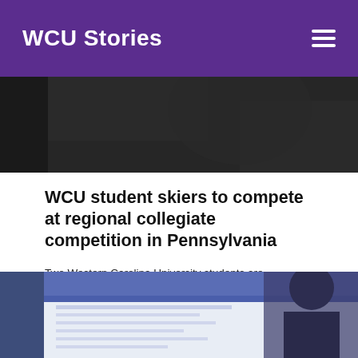WCU Stories
[Figure (photo): Dark background photo, partially cropped at top]
WCU student skiers to compete at regional collegiate competition in Pennsylvania
Two Western Carolina University students are competing in the Mid Atlantic Regional of the United States Collegiate Ski and Snowboard Association Friday, Feb. 28 to Saturday, Feb. 29, at Blue Mountain Resort in Palmerton, Pennsylvania.
[Figure (photo): Person using a laptop computer, screen showing a website/form, cropped at bottom]